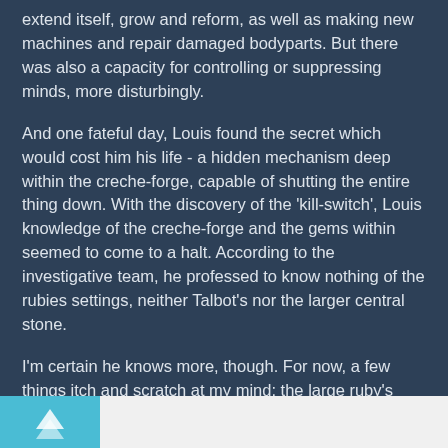extend itself, grow and reform, as well as making new machines and repair damaged bodyparts. But there was also a capacity for controlling or suppressing minds, more disturbingly.
And one fateful day, Louis found the secret which would cost him his life - a hidden mechanism deep within the creche-forge, capable of shutting the entire thing down. With the discovery of the 'kill-switch', Louis knowledge of the creche-forge and the gems within seemed to come to a halt. According to the investigative team, he professed to know nothing of the rubies settings, neither Talbot's nor the larger central stone.
I'm certain he knows more, though. For now, a few things itch and scratch at my mind: the large ruby's significance and singular form (is it truly the 'blender', where two become one? And why does it appear more elaborate and refined, with settings less worn away by time?). Where is this 'kill-switch'? And assuming the chips sported by Taschereau and Tusker are the sending devices, does this mean Sally's got one too, hidden somewhere upon her person, beneath metal armour, cloth or even skin? The chips do more than simply send a message - and